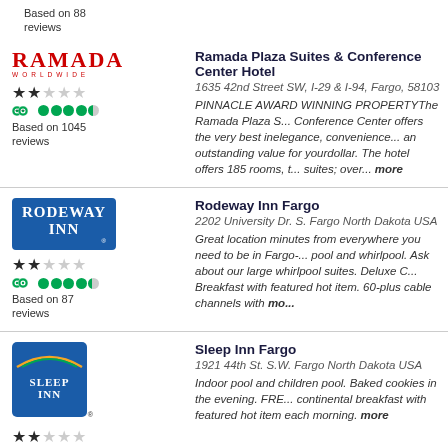Based on 88 reviews
[Figure (logo): Ramada Worldwide logo]
Ramada Plaza Suites & Conference Center Hotel
1635 42nd Street SW, I-29 & I-94, Fargo, 58103
PINNACLE AWARD WINNING PROPERTYThe Ramada Plaza S... Conference Center offers the very best inelegance, convenience... an outstanding value for yourdollar. The hotel offers 185 rooms, t... suites; over... more
Based on 1045 reviews
[Figure (logo): Rodeway Inn logo]
Rodeway Inn Fargo
2202 University Dr. S. Fargo North Dakota USA
Great location minutes from everywhere you need to be in Fargo-... pool and whirlpool. Ask about our large whirlpool suites. Deluxe C... Breakfast with featured hot item. 60-plus cable channels with mo...
Based on 87 reviews
[Figure (logo): Sleep Inn logo]
Sleep Inn Fargo
1921 44th St. S.W. Fargo North Dakota USA
Indoor pool and children pool. Baked cookies in the evening. FRE... continental breakfast with featured hot item each morning. more
Based on 95 reviews